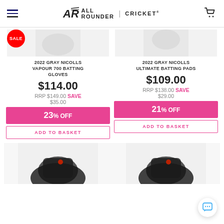All Rounder | Cricket — navigation header with hamburger menu and cart
SALE
2022 GRAY NICOLLS VAPOUR 700 BATTING GLOVES
$114.00
RRP $149.00 SAVE $35.00
23% OFF
ADD TO BASKET
2022 GRAY NICOLLS ULTIMATE BATTING PADS
$109.00
RRP $138.00 SAVE $29.00
21% OFF
ADD TO BASKET
[Figure (photo): Partial view of cricket batting pads / shoes at bottom left]
[Figure (photo): Partial view of cricket batting pads / shoes at bottom right]
[Figure (other): Chat button icon bottom right]